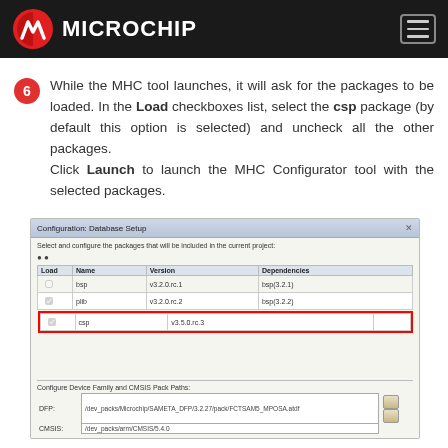Microchip
While the MHC tool launches, it will ask for the packages to be loaded. In the Load checkboxes list, select the csp package (by default this option is selected) and uncheck all the other packages. Click Launch to launch the MHC Configurator tool with the selected packages.
[Figure (screenshot): Configuration Database Setup dialog showing a table with Load, Name, Version, and Dependencies columns. Three packages listed: bsp (v3.2.0.rc.1), plib (v3.2.0.rc.2), csp (v3.5.0.rc.3 - highlighted with red outline). Bottom section shows Configure Device Family and CMSIS Pack Paths with DFP and CMSIS fields.]